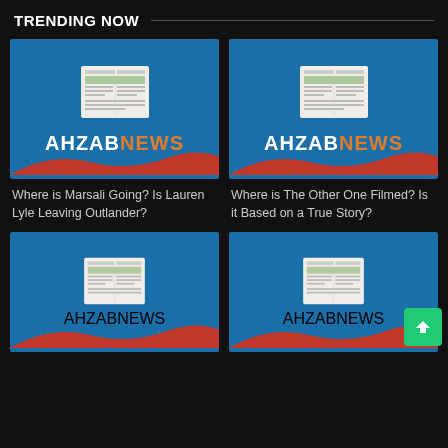TRENDING NOW
[Figure (logo): AhzabNews logo card with newspaper icon on blue background with red wave]
[Figure (logo): AhzabNews logo card with newspaper icon on blue background with red wave]
Where is Marsali Going? Is Lauren Lyle Leaving Outlander?
Where is The Other One Filmed? Is it Based on a True Story?
[Figure (logo): AhzabNews logo card with newspaper icon on blue background with red wave]
[Figure (logo): AhzabNews logo card with newspaper icon on blue background with red wave]